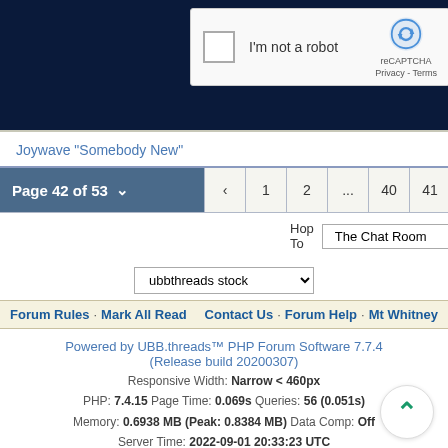[Figure (screenshot): reCAPTCHA widget on dark navy background showing checkbox and 'I'm not a robot' label with reCAPTCHA logo]
Joywave "Somebody New"
Page 42 of 53 ∨  ‹  1  2  ...  40  41  42  43  44  ...  52  53
Hop To   The Chat Room
ubbthreads stock
Forum Rules · Mark All Read    Contact Us · Forum Help · Mt Whitney
Powered by UBB.threads™ PHP Forum Software 7.7.4
(Release build 20200307)
Responsive Width: Narrow < 460px
PHP: 7.4.15 Page Time: 0.069s Queries: 56 (0.051s)
Memory: 0.6938 MB (Peak: 0.8384 MB) Data Comp: Off
Server Time: 2022-09-01 20:33:23 UTC
Valid HTML 5 and Valid CSS